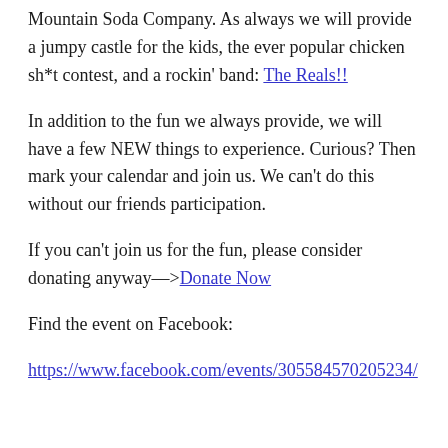Mountain Soda Company. As always we will provide a jumpy castle for the kids, the ever popular chicken sh*t contest, and a rockin' band: The Reals!!
In addition to the fun we always provide, we will have a few NEW things to experience. Curious? Then mark your calendar and join us. We can't do this without our friends participation.
If you can't join us for the fun, please consider donating anyway—>Donate Now
Find the event on Facebook:
https://www.facebook.com/events/305584570205234/